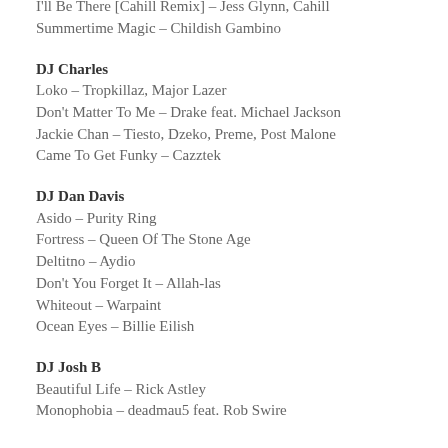I'll Be There [Cahill Remix] – Jess Glynn, Cahill
Summertime Magic – Childish Gambino
DJ Charles
Loko – Tropkillaz, Major Lazer
Don't Matter To Me – Drake feat. Michael Jackson
Jackie Chan – Tiesto, Dzeko, Preme, Post Malone
Came To Get Funky – Cazztek
DJ Dan Davis
Asido – Purity Ring
Fortress – Queen Of The Stone Age
Deltitno – Aydio
Don't You Forget It – Allah-las
Whiteout – Warpaint
Ocean Eyes – Billie Eilish
DJ Josh B
Beautiful Life – Rick Astley
Monophobia – deadmau5 feat. Rob Swire